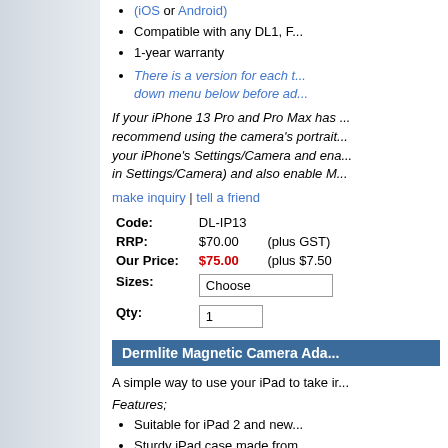(iOS or Android)
Compatible with any DL1, F...
1-year warranty
There is a version for each t... down menu below before ad...
If your iPhone 13 Pro and Pro Max has ... recommend using the camera's portrait... your iPhone's Settings/Camera and ena... in Settings/Camera) and also enable M...
make inquiry | tell a friend
| Field | Value | Extra |
| --- | --- | --- |
| Code: | DL-IP13 |  |
| RRP: | $70.00 | (plus GST) |
| Our Price: | $75.00 | (plus $7.50 |
| Sizes: | Choose |  |
| Qty: | 1 |  |
Dermlite Magnetic Camera Ada...
A simple way to use your iPad to take ir...
Features;
Suitable for iPad 2 and new...
Sturdy iPad case made from...
Precision-machined aluminu...
New features MagnetiCons...